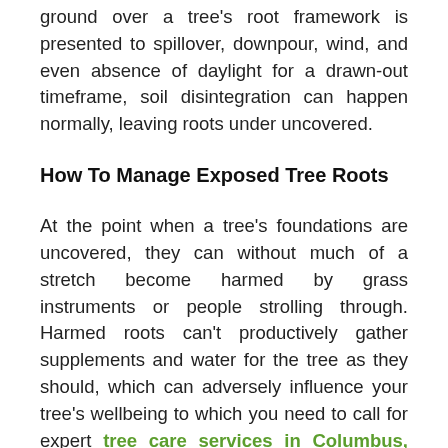ground over a tree's root framework is presented to spillover, downpour, wind, and even absence of daylight for a drawn-out timeframe, soil disintegration can happen normally, leaving roots under uncovered.
How To Manage Exposed Tree Roots
At the point when a tree's foundations are uncovered, they can without much of a stretch become harmed by grass instruments or people strolling through. Harmed roots can't productively gather supplements and water for the tree as they should, which can adversely influence your tree's wellbeing to which you need to call for expert tree care services in Columbus, GA. Moreover, at the point when you wind up with uncovered tree establishes in your yard, there are a couple of things you can